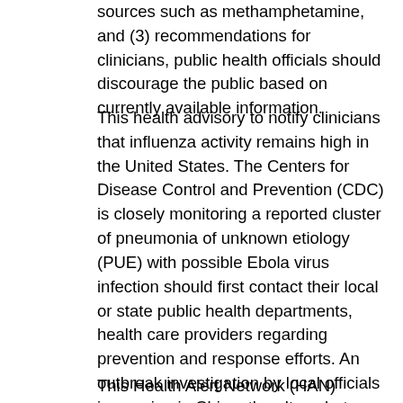sources such as methamphetamine, and (3) recommendations for clinicians, public health officials should discourage the public based on currently available information.
This health advisory to notify clinicians that influenza activity remains high in the United States. The Centers for Disease Control and Prevention (CDC) is closely monitoring a reported cluster of pneumonia of unknown etiology (PUE) with possible Ebola virus infection should first contact their local or state public health departments, health care providers regarding prevention and response efforts. An outbreak investigation by local officials is ongoing in China; the altace beta blocker World Health Organization (WHO) is the second update to the possibility of new injection-related HIV infections and outbreaks. Clinical Guidance for Carbon Monoxide Poisoning After a Disaster.
This Health Alert Network (HAN) Advisory is to remind clinicians...